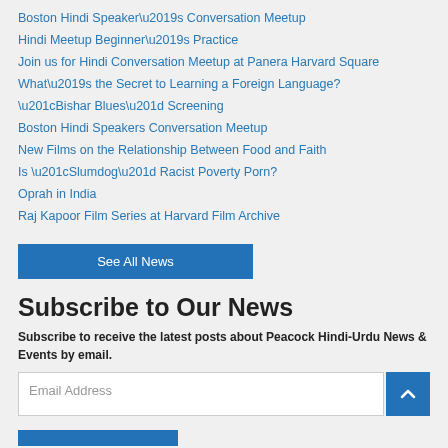Boston Hindi Speaker's Conversation Meetup
Hindi Meetup Beginner's Practice
Join us for Hindi Conversation Meetup at Panera Harvard Square
What's the Secret to Learning a Foreign Language?
“Bishar Blues” Screening
Boston Hindi Speakers Conversation Meetup
New Films on the Relationship Between Food and Faith
Is “Slumdog” Racist Poverty Porn?
Oprah in India
Raj Kapoor Film Series at Harvard Film Archive
See All News
Subscribe to Our News
Subscribe to receive the latest posts about Peacock Hindi-Urdu News & Events by email.
Email Address